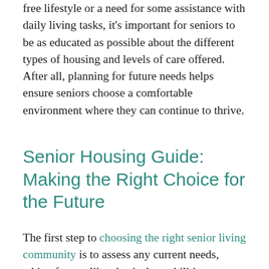free lifestyle or a need for some assistance with daily living tasks, it's important for seniors to be as educated as possible about the different types of housing and levels of care offered. After all, planning for future needs helps ensure seniors choose a comfortable environment where they can continue to thrive.
Senior Housing Guide: Making the Right Choice for the Future
The first step to choosing the right senior living community is to assess any current needs, taking factors like physical capabilities,